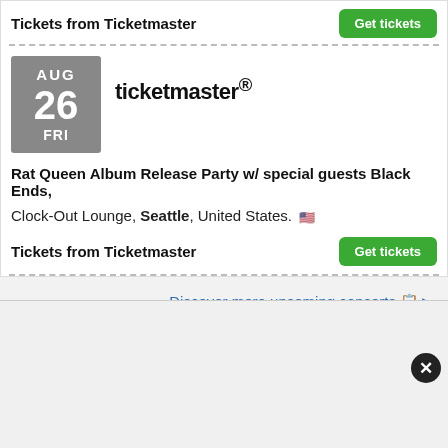Tickets from Ticketmaster
[Figure (logo): Ticketmaster logo with date box showing AUG 26 FRI]
Rat Queen Album Release Party w/ special guests Black Ends,
Clock-Out Lounge, Seattle, United States. 🇺🇸
Tickets from Ticketmaster
Discover more upcoming concerts 📋➤